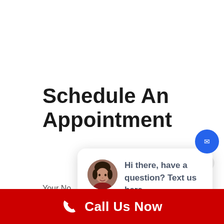Schedule An Appointment
close
[Figure (screenshot): Chat popup with a woman's avatar photo and text: Hi there, have a question? Text us here.]
Your No
Email
Call Us Now